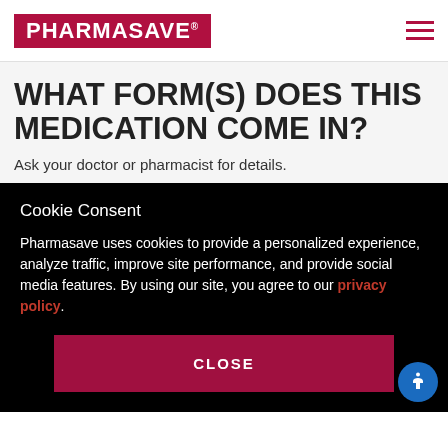PHARMASAVE
WHAT FORM(S) DOES THIS MEDICATION COME IN?
Ask your doctor or pharmacist for details.
Cookie Consent
Pharmasave uses cookies to provide a personalized experience, analyze traffic, improve site performance, and provide social media features. By using our site, you agree to our privacy policy.
CLOSE